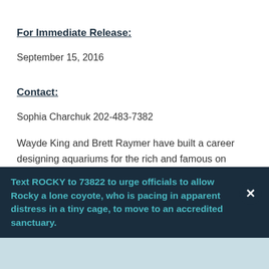For Immediate Release:
September 15, 2016
Contact:
Sophia Charchuk 202-483-7382
Wayde King and Brett Raymer have built a career designing aquariums for the rich and famous on Animal Planet’s Tanked—which is why their plan to open a restaurant in Las Vegas prompted PETA to send a letter this morning requesting that fish be kept off the menu. PETA points out in the letter that fish caught in huge commercial fishing nets endure the agony of decompression as they’re ha…
Text ROCKY to 73822 to urge officials to allow Rocky a lone coyote, who is pacing in apparent distress in a tiny cage, to move to an accredited sanctuary.